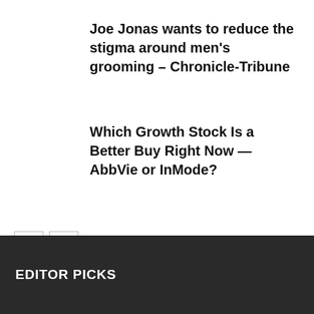Joe Jonas wants to reduce the stigma around men's grooming – Chronicle-Tribune
Which Growth Stock Is a Better Buy Right Now — AbbVie or InMode?
[Figure (other): Navigation buttons with left and right arrows for pagination]
EDITOR PICKS